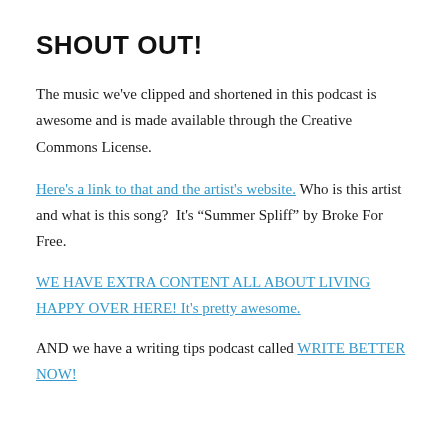SHOUT OUT!
The music we've clipped and shortened in this podcast is awesome and is made available through the Creative Commons License.
Here's a link to that and the artist's website. Who is this artist and what is this song?  It's “Summer Spliff” by Broke For Free.
WE HAVE EXTRA CONTENT ALL ABOUT LIVING HAPPY OVER HERE! It's pretty awesome.
AND we have a writing tips podcast called WRITE BETTER NOW!